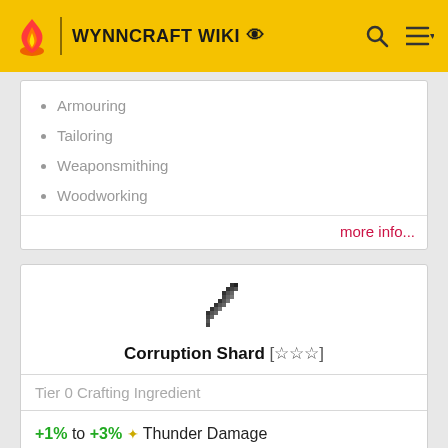WYNNCRAFT WIKI
Armouring
Tailoring
Weaponsmithing
Woodworking
more info...
[Figure (illustration): Pixel art icon of a corruption shard (dark feather/blade shape)]
Corruption Shard [☆☆☆]
Tier 0 Crafting Ingredient
+1% to +3% ✦ Thunder Damage
-21 Durability or -40s Duration
Crafting Lv. Min: 7
• Weaponsmithing
• Woodworking
• Scribing